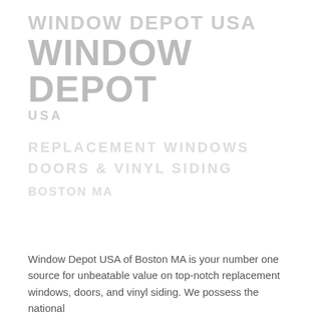[Figure (logo): Window Depot USA logo with large stylized watermark text in light gray, showing company name in multiple sizes and weights]
Window Depot USA of Boston MA is your number one source for unbeatable value on top-notch replacement windows, doors, and vinyl siding. We possess the national